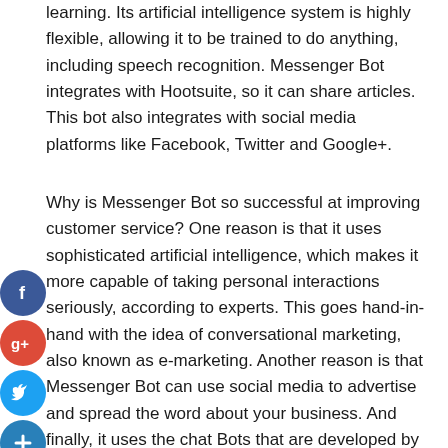learning. Its artificial intelligence system is highly flexible, allowing it to be trained to do anything, including speech recognition. Messenger Bot integrates with Hootsuite, so it can share articles. This bot also integrates with social media platforms like Facebook, Twitter and Google+.
Why is Messenger Bot so successful at improving customer service? One reason is that it uses sophisticated artificial intelligence, which makes it more capable of taking personal interactions seriously, according to experts. This goes hand-in-hand with the idea of conversational marketing, also known as e-marketing. Another reason is that Messenger Bot can use social media to advertise and spread the word about your business. And finally, it uses the chat Bots that are developed by Hootsuite.